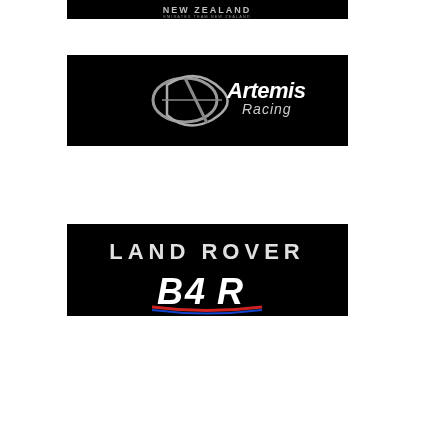[Figure (logo): Emirates Team New Zealand logo on black background]
[Figure (logo): Artemis Racing logo on black background with swoosh graphic element]
[Figure (logo): Land Rover BAR (Ben Ainslie Racing) logo on black background]